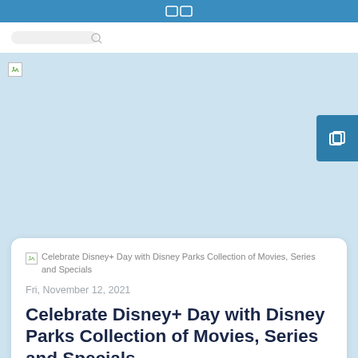[Figure (photo): Hero image area with light blue background, broken image icon at top left, and a teal copy/share button on the right side]
Celebrate Disney+ Day with Disney Parks Collection of Movies, Series and Specials
Fri, November 12, 2021
Celebrate Disney+ Day with Disney Parks Collection of Movies, Series and Specials